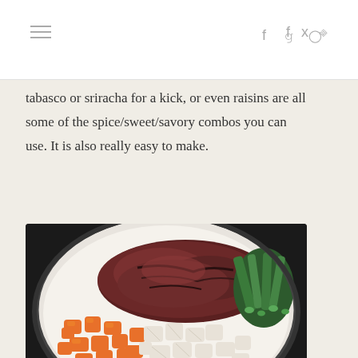navigation header with hamburger menu and social icons (f, twitter, instagram)
tabasco or sriracha for a kick, or even raisins are all some of the spice/sweet/savory combos you can use. It is also really easy to make.
[Figure (photo): A white pot/bowl containing raw ground beef/meat patties, chopped orange carrots, diced white onions, and sliced green onions/scallions viewed from above]
These beauties all cook together until it looks like this: